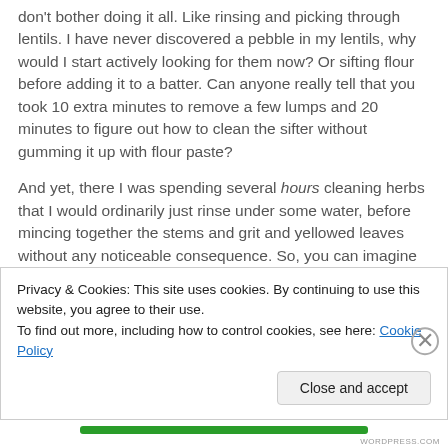don't bother doing it all. Like rinsing and picking through lentils. I have never discovered a pebble in my lentils, why would I start actively looking for them now? Or sifting flour before adding it to a batter. Can anyone really tell that you took 10 extra minutes to remove a few lumps and 20 minutes to figure out how to clean the sifter without gumming it up with flour paste?
And yet, there I was spending several hours cleaning herbs that I would ordinarily just rinse under some water, before mincing together the stems and grit and yellowed leaves without any noticeable consequence. So, you can imagine how I felt halfway through the second bunch of
Privacy & Cookies: This site uses cookies. By continuing to use this website, you agree to their use.
To find out more, including how to control cookies, see here: Cookie Policy
Close and accept